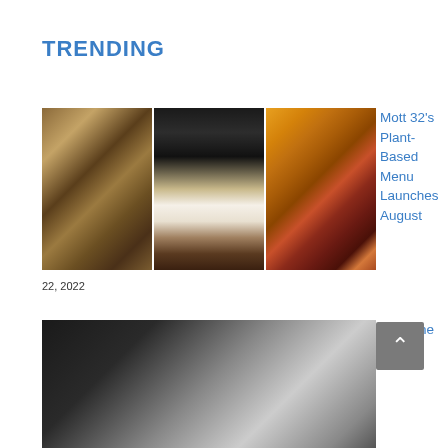TRENDING
[Figure (photo): Three food photos side by side showing dim sum, wine glass with cocktail food, and colorful cauliflower dish]
Mott 32's Plant-Based Menu Launches August 22, 2022
[Figure (photo): Dark gradient food/cellar image]
From the Cellar